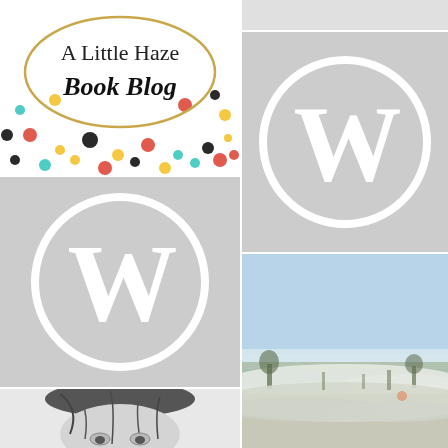[Figure (logo): A Little Haze Book Blog logo: oval/ellipse outline in gold, script and serif text inside, colorful polka dots background]
[Figure (logo): WordPress logo: white W in circle on light gray background, large version]
[Figure (logo): WordPress logo: white W in circle on light gray background, medium version]
[Figure (photo): Landscape photo: misty countryside scene with blue sky, fog rolling over green fields and trees]
[Figure (illustration): Black and white pencil-style portrait of a person, partial view showing upper face and hair]